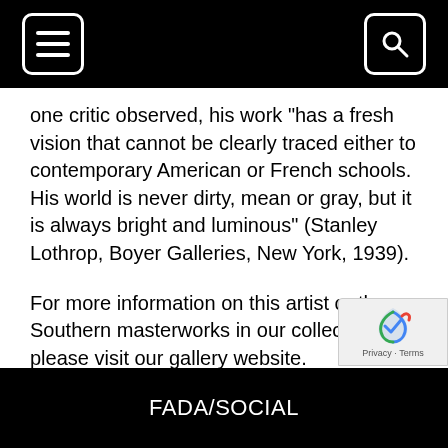[Navigation header with hamburger menu and search icon]
one critic observed, his work "has a fresh vision that cannot be clearly traced either to contemporary American or French schools. His world is never dirty, mean or gray, but it is always bright and luminous" (Stanley Lothrop, Boyer Galleries, New York, 1939).
For more information on this artist or the Southern masterworks in our collection, please visit our gallery website.
This essay is copyrighted by the Charleston Renaissance Gallery and may not be reproduced or transmitted without written permission from Hicklin Galleries, LLC.
FADA/SOCIAL